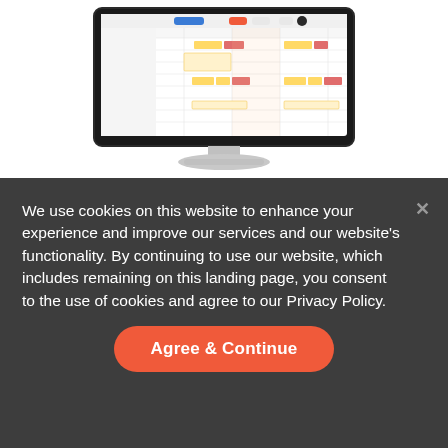[Figure (screenshot): Desktop computer monitor displaying a scheduling or calendar web application interface with colored rows and columns]
We use cookies on this website to enhance your experience and improve our services and our website's functionality. By continuing to use our website, which includes remaining on this landing page, you consent to the use of cookies and agree to our Privacy Policy.
Agree & Continue